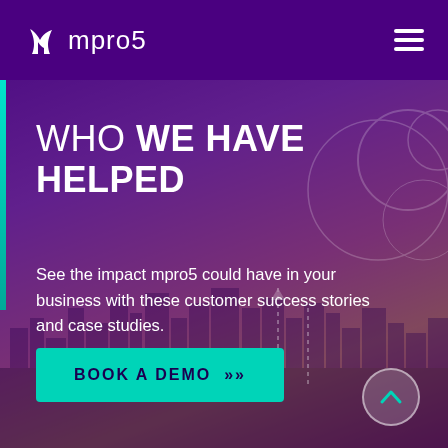mpro5
WHO WE HAVE HELPED
See the impact mpro5 could have in your business with these customer success stories and case studies.
[Figure (illustration): Teal/turquoise button with text BOOK A DEMO >> on a purple-gradient background with cityscape silhouette]
BOOK A DEMO »